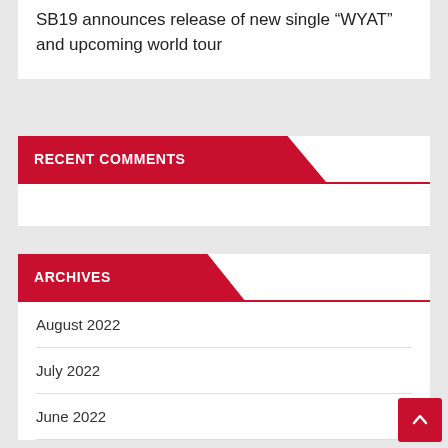SB19 announces release of new single “WYAT” and upcoming world tour
RECENT COMMENTS
ARCHIVES
August 2022
July 2022
June 2022